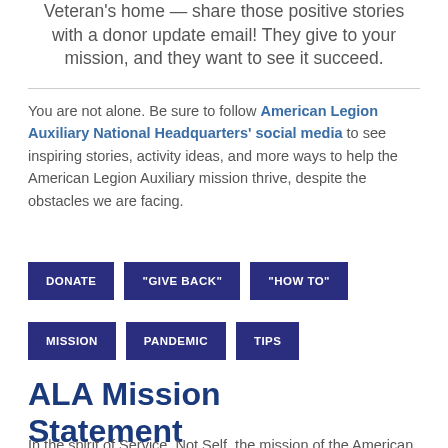Veteran's home — share those positive stories with a donor update email! They give to your mission, and they want to see it succeed.
You are not alone. Be sure to follow American Legion Auxiliary National Headquarters' social media to see inspiring stories, activity ideas, and more ways to help the American Legion Auxiliary mission thrive, despite the obstacles we are facing.
DONATE
"GIVE BACK"
"HOW TO"
MISSION
PANDEMIC
TIPS
ALA Mission Statement
In the spirit of Service, Not Self, the mission of the American Legion Auxiliary is to support The American